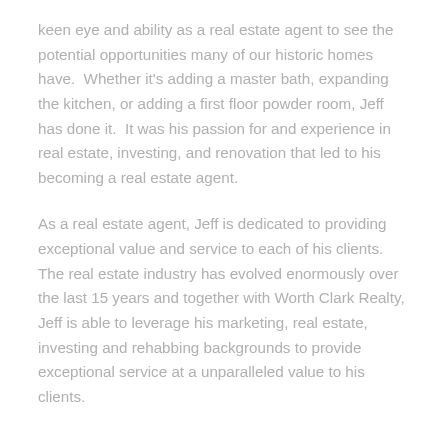keen eye and ability as a real estate agent to see the potential opportunities many of our historic homes have.  Whether it's adding a master bath, expanding the kitchen, or adding a first floor powder room, Jeff has done it.  It was his passion for and experience in real estate, investing, and renovation that led to his becoming a real estate agent.
As a real estate agent, Jeff is dedicated to providing exceptional value and service to each of his clients.  The real estate industry has evolved enormously over the last 15 years and together with Worth Clark Realty, Jeff is able to leverage his marketing, real estate, investing and rehabbing backgrounds to provide exceptional service at a unparalleled value to his clients.